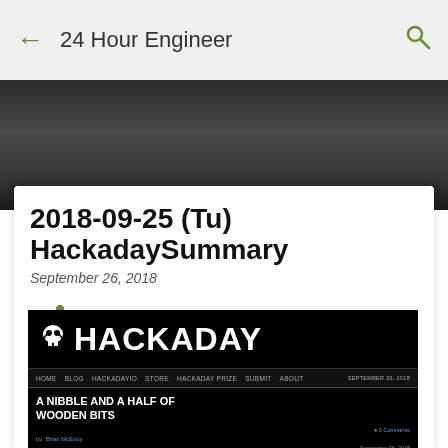← 24 Hour Engineer 🔍
[Figure (screenshot): Dark blurred hero background image]
2018-09-25 (Tu) HackadaySummary
September 26, 2018
[Figure (screenshot): Hackaday website screenshot showing article 'A NIBBLE AND A HALF OF WOODEN BITS' by Brian McEvoy, September 26, 2018, with binary code flanking a wooden number display image, and a SEARCH section visible.]